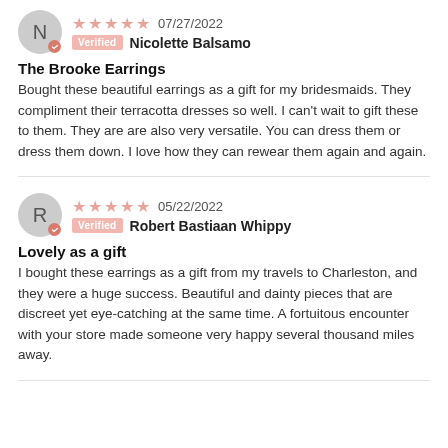N — Verified — Nicolette Balsamo — 07/27/2022 — 5 stars
The Brooke Earrings
Bought these beautiful earrings as a gift for my bridesmaids. They compliment their terracotta dresses so well. I can't wait to gift these to them. They are are also very versatile. You can dress them or dress them down. I love how they can rewear them again and again.
R — Verified — Robert Bastiaan Whippy — 05/22/2022 — 5 stars
Lovely as a gift
I bought these earrings as a gift from my travels to Charleston, and they were a huge success. Beautiful and dainty pieces that are discreet yet eye-catching at the same time. A fortuitous encounter with your store made someone very happy several thousand miles away.